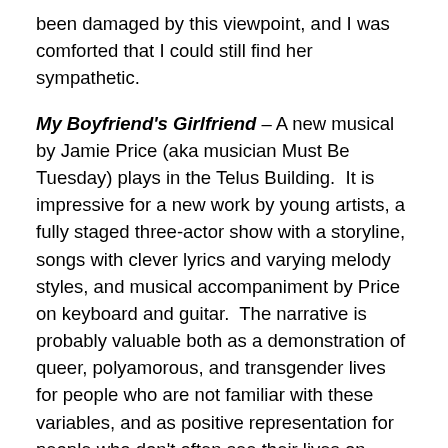been damaged by this viewpoint, and I was comforted that I could still find her sympathetic.
My Boyfriend's Girlfriend – A new musical by Jamie Price (aka musician Must Be Tuesday) plays in the Telus Building. It is impressive for a new work by young artists, a fully staged three-actor show with a storyline, songs with clever lyrics and varying melody styles, and musical accompaniment by Price on keyboard and guitar. The narrative is probably valuable both as a demonstration of queer, polyamorous, and transgender lives for people who are not familiar with these variables, and as positive representation for people who don't often see their lives on stage. Just the simple stage business of a character turning away from the audience to take off a bra and put on a tank-top style binder was effective as storytelling and as education, without being enough nudity to distract. It is